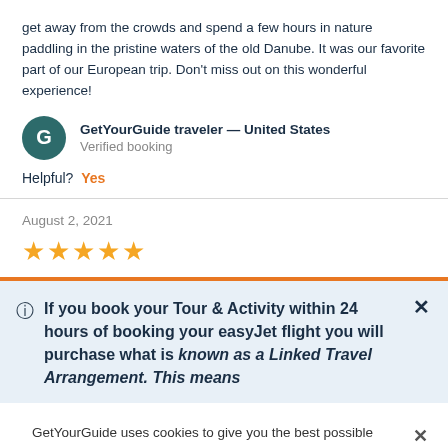get away from the crowds and spend a few hours in nature paddling in the pristine waters of the old Danube. It was our favorite part of our European trip. Don't miss out on this wonderful experience!
GetYourGuide traveler — United States
Verified booking
Helpful? Yes
August 2, 2021
★★★★★
If you book your Tour & Activity within 24 hours of booking your easyJet flight you will purchase what is known as a Linked Travel Arrangement. This means...
GetYourGuide uses cookies to give you the best possible service. If you continue browsing, you agree to the use of cookies. More details can be found in our privacy policy.